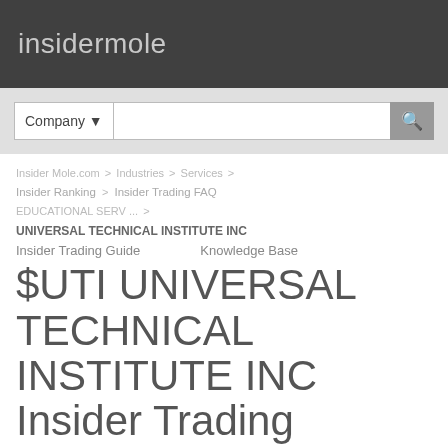insidermole
Company ▾ [search box]
Insider Mole.com > Industries > Services > EDUCATIONAL SERV ... > UNIVERSAL TECHNICAL INSTITUTE INC
Insider Ranking | Insider Trading FAQ
Insider Trading Guide   Knowledge Base
$UTI UNIVERSAL TECHNICAL INSTITUTE INC Insider Trading
General | Insiders | Insider Transactions | Monthly Overview | Weekly Overview
FREE EMAIL WATCHDOG
Get free email notifications about insider trading in UNIVERSAL TECHNICAL INSTITUTE INC.
email_address@gmail.com
Subscribe for Free